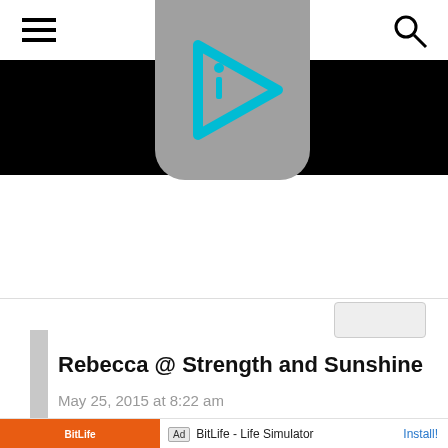[Figure (logo): Website logo: a gray rounded square with a cyan/teal play button arrow and an 'i' letter inside it, on a black header background. Hamburger menu icon on top left, search icon on top right.]
Rebecca @ Strength and Sunshine
May 25, 2015 at 8:22 am
BitLife - Life Simulator
Install!